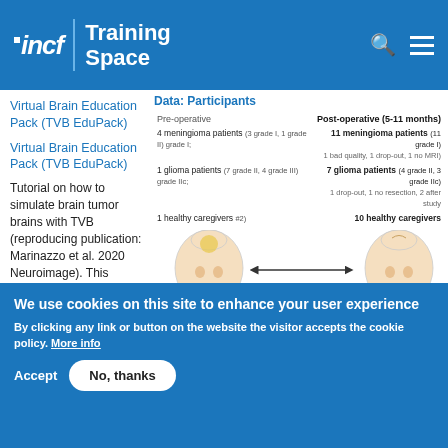incf | Training Space
Data: Participants
Virtual Brain Education Pack (TVB EduPack)
Tutorial on how to simulate brain tumor brains with TVB (reproducing publication: Marinazzo et al. 2020 Neuroimage). This tutorial comprises a didactic video, jupyter notebooks, and full data set for the
[Figure (infographic): Table showing pre-operative and post-operative (5-11 months) participant data: meningioma patients, glioma patients, and healthy caregivers, with brain illustrations showing pre and post operative states.]
We use cookies on this site to enhance your user experience
By clicking any link or button on the website the visitor accepts the cookie policy. More info
Accept   No, thanks